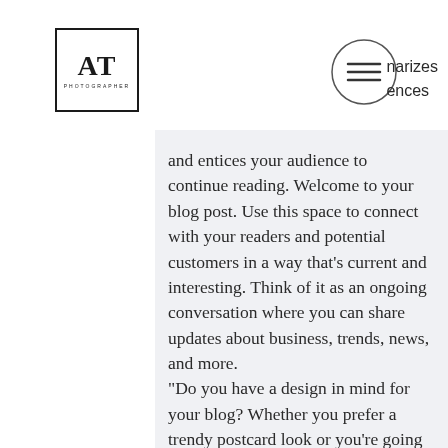AT PHOTOGRAPHER
narizes ences and entices your audience to continue reading. Welcome to your blog post. Use this space to connect with your readers and potential customers in a way that's current and interesting. Think of it as an ongoing conversation where you can share updates about business, trends, news, and more. “Do you have a design in mind for your blog? Whether you prefer a trendy postcard look or you’re going
6  0
[Figure (photo): Dark-toned overhead food/drink photography showing a metal pitcher, wine glasses with red liquid, grapes, and table setting on a dark wooden surface]